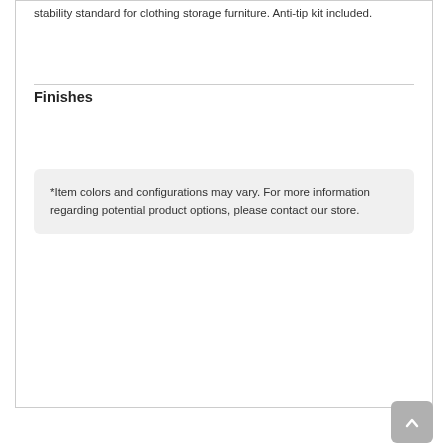stability standard for clothing storage furniture. Anti-tip kit included.
Finishes
*Item colors and configurations may vary. For more information regarding potential product options, please contact our store.